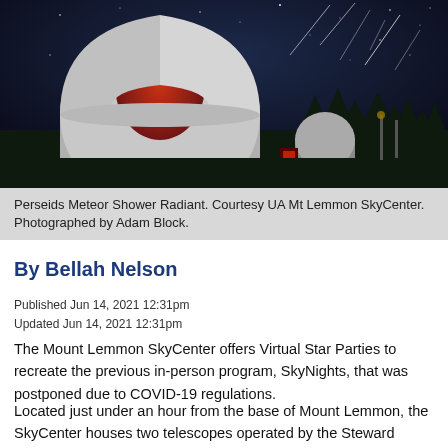[Figure (photo): Night sky photograph showing an observatory dome with open dome revealing a red interior, with star trails and meteors visible in the dark blue-black sky. A smaller dome and red-lit building visible in the background among trees.]
Perseids Meteor Shower Radiant. Courtesy UA Mt Lemmon SkyCenter. Photographed by Adam Block.
By Bellah Nelson
Published Jun 14, 2021 12:31pm
Updated Jun 14, 2021 12:31pm
The Mount Lemmon SkyCenter offers Virtual Star Parties to recreate the previous in-person program, SkyNights, that was postponed due to COVID-19 regulations.
Located just under an hour from the base of Mount Lemmon, the SkyCenter houses two telescopes operated by the Steward Observatory. These are two of the 11 total telescopes at Mount